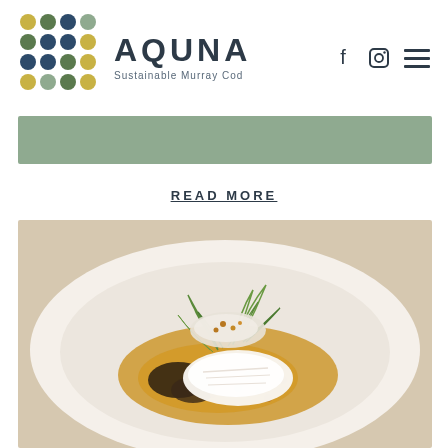[Figure (logo): AQUNA Sustainable Murray Cod logo with colorful dot grid and text]
[Figure (illustration): Sage green banner/rectangle decorative element]
READ MORE
[Figure (photo): Plated Murray Cod dish on a white plate with fennel fronds, grains, and golden sauce — restaurant food photography]